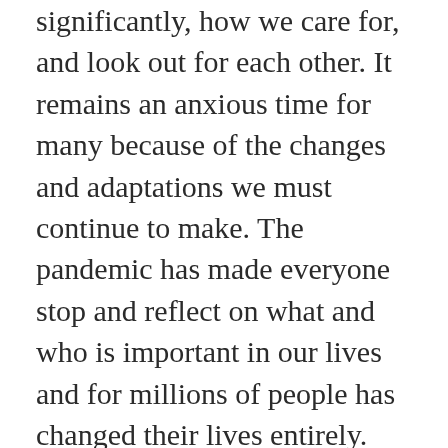significantly, how we care for, and look out for each other. It remains an anxious time for many because of the changes and adaptations we must continue to make. The pandemic has made everyone stop and reflect on what and who is important in our lives and for millions of people has changed their lives entirely. For me, this shock change in the world has reminded me that as humans we are resilient and can adapt. It has also shown us that it is the way we look at and handle the change that is important. Life is changeable and unpredictable, and we become subject to changes which are often beyond our control. Pentecost is a Holy Day which reminds Christians that God, through the Holy Spirit,